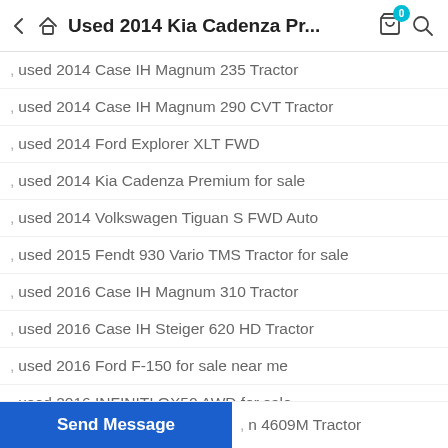Used 2014 Kia Cadenza Pr...
, used 2014 Case IH Magnum 235 Tractor
, used 2014 Case IH Magnum 290 CVT Tractor
, used 2014 Ford Explorer XLT FWD
, used 2014 Kia Cadenza Premium for sale
, used 2014 Volkswagen Tiguan S FWD Auto
, used 2015 Fendt 930 Vario TMS Tractor for sale
, used 2016 Case IH Magnum 310 Tractor
, used 2016 Case IH Steiger 620 HD Tractor
, used 2016 Ford F-150 for sale near me
, used 2016 INFINITI QX50 AWD for sale
, used 2016 Kia Sorento LX I4 AWD for sale
, used 2016 Kubota M59 Tractor for sale
, ...on 4609M Tractor